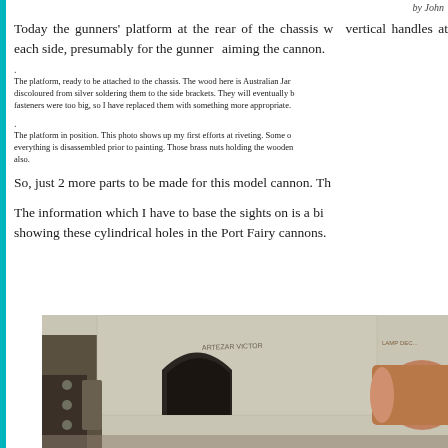by John
Today the gunners' platform at the rear of the chassis w... vertical handles at each side, presumably for the gunner... aiming the cannon.
The platform, ready to be attached to the chassis. The wood here is Australian Ja... discoloured from silver soldering them to the side brackets. They will eventually ... fasteners were too big, so I have replaced them with something more appropriate.
The platform in position. This photo shows up my first efforts at riveting. Some o... everything is disassembled prior to painting. Those brass nuts holding the wooden... also.
So, just 2 more parts to be made for this model cannon. Th...
The information which I have to base the sights on is a bi... showing these cylindrical holes in the Port Fairy cannons.
[Figure (photo): Photo of a cannon or cannon part, showing stone or concrete surface with arched opening and cylindrical metal barrel, with text markings visible]